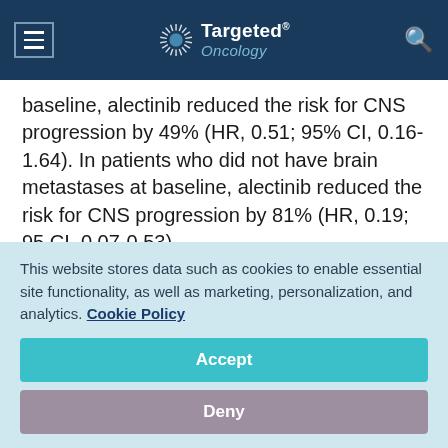Targeted Oncology
baseline, alectinib reduced the risk for CNS progression by 49% (HR, 0.51; 95% CI, 0.16-1.64). In patients who did not have brain metastases at baseline, alectinib reduced the risk for CNS progression by 81% (HR, 0.19; 95 CI, 0.07-0.53).
Alectinib was associated with fewer serious adverse events (AEs) in both studies. In ALEX, 41%
This website stores data such as cookies to enable essential site functionality, as well as marketing, personalization, and analytics. Cookie Policy
Accept
Deny